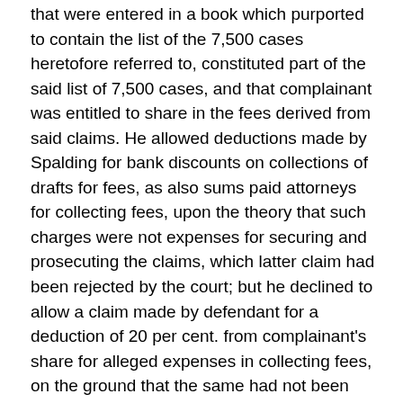that were entered in a book which purported to contain the list of the 7,500 cases heretofore referred to, constituted part of the said list of 7,500 cases, and that complainant was entitled to share in the fees derived from said claims. He allowed deductions made by Spalding for bank discounts on collections of drafts for fees, as also sums paid attorneys for collecting fees, upon the theory that such charges were not expenses for securing and prosecuting the claims, which latter claim had been rejected by the court; but he declined to allow a claim made by defendant for a deduction of 20 per cent. from complainant's share for alleged expenses in collecting fees, on the ground that the same had not been sufficiently proven. Other matters included in the report are not in controversy in this court.
Exceptions were filed to the auditor's report on behalf of both parties. [161 U.S. 375, 380]  Upon the amount found due by the auditor as Mason's share of fees collected in accordance with the decree for fees, the auditor allowed interest...